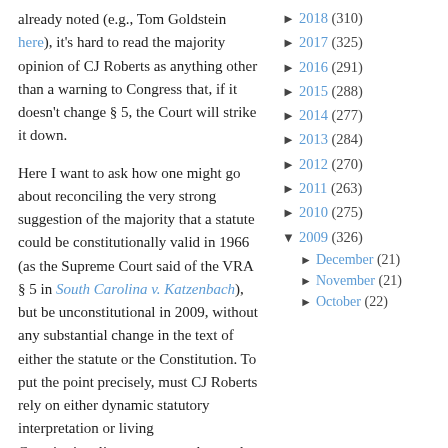already noted (e.g., Tom Goldstein here), it's hard to read the majority opinion of CJ Roberts as anything other than a warning to Congress that, if it doesn't change § 5, the Court will strike it down.
Here I want to ask how one might go about reconciling the very strong suggestion of the majority that a statute could be constitutionally valid in 1966 (as the Supreme Court said of the VRA § 5 in South Carolina v. Katzenbach), but be unconstitutional in 2009, without any substantial change in the text of either the statute or the Constitution. To put the point precisely, must CJ Roberts rely on either dynamic statutory interpretation or living Constitutionalism to support the result at which his opinion strongly hints in Northwest Austin Municip Util. Dist.?
► 2018 (310)
► 2017 (325)
► 2016 (291)
► 2015 (288)
► 2014 (277)
► 2013 (284)
► 2012 (270)
► 2011 (263)
► 2010 (275)
▼ 2009 (326)
► December (21)
► November (21)
► October (22)